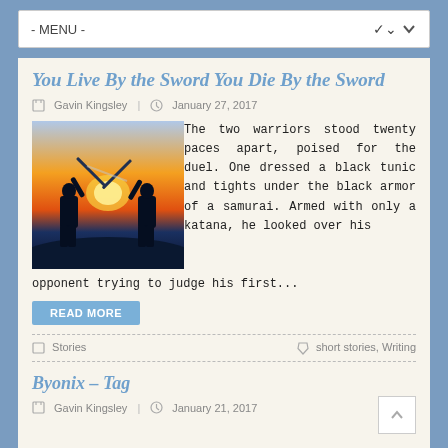- MENU -
You Live By the Sword You Die By the Sword
Gavin Kingsley | January 27, 2017
[Figure (photo): Silhouette of two samurai warriors dueling with swords against a dramatic sunset sky with orange and blue tones]
The two warriors stood twenty paces apart, poised for the duel. One dressed a black tunic and tights under the black armor of a samurai. Armed with only a katana, he looked over his opponent trying to judge his first...
READ MORE
Stories
short stories, Writing
Byonix - Tag
Gavin Kingsley | January 21, 2017